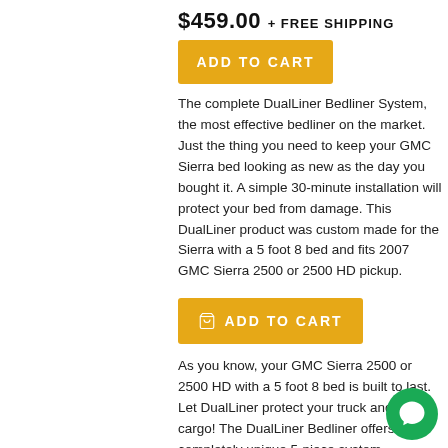$459.00 + FREE SHIPPING
ADD TO CART
The complete DualLiner Bedliner System, the most effective bedliner on the market. Just the thing you need to keep your GMC Sierra bed looking as new as the day you bought it. A simple 30-minute installation will protect your bed from damage. This DualLiner product was custom made for the Sierra with a 5 foot 8 bed and fits 2007 GMC Sierra 2500 or 2500 HD pickup.
ADD TO CART
As you know, your GMC Sierra 2500 or 2500 HD with a 5 foot 8 bed is built to last. Let DualLiner protect your truck and your cargo! The DualLiner Bedliner offers a completely unique 5-piece system combining custom-fit, hard dent protection panels for the bulkhead, sides and tailgate that with a heavy duty ZeroSkid® Rubber Flo Thick ZeroSkid® mat interlocks with the sides to provide complete protection. The Dual Liner was
[Figure (illustration): Green circular chat support button icon in bottom right corner]